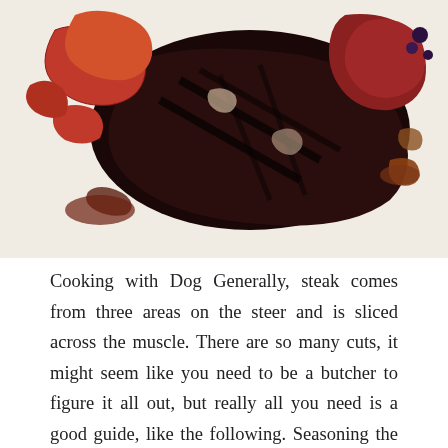[Figure (photo): Close-up photo of cooked beef steak pieces with sauces on a white plate, showing charred and medium-rare cuts with reddish-brown sauce drizzled around.]
Cooking with Dog Generally, steak comes from three areas on the steer and is sliced across the muscle. There are so many cuts, it might seem like you need to be a butcher to figure it all out, but really all you need is a good guide, like the following. Seasoning the exterior of the steak will help seal in the moisture that comes from the marbled fat.
Hello everybody, hope you're having an amazing day today. Today, I will show you a way to prepare a special dish, beef steak with 2 varieties of sauce. One of my favorites food recipes. This time, I will make it a little bit unique. This will be really delicious.
Beef Steak With 2 Varieties of Sauce is one of the most favored of current trending foods on earth. It's appreciated by millions every